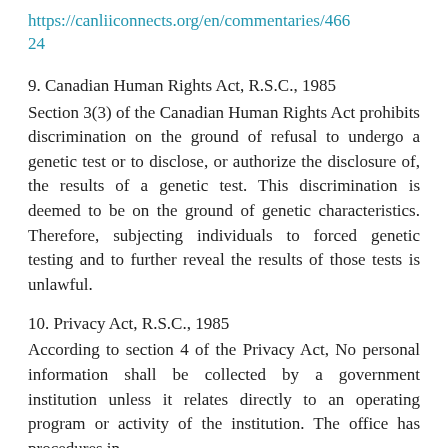https://canliiconnects.org/en/commentaries/46624
9. Canadian Human Rights Act, R.S.C., 1985
Section 3(3) of the Canadian Human Rights Act prohibits discrimination on the ground of refusal to undergo a genetic test or to disclose, or authorize the disclosure of, the results of a genetic test. This discrimination is deemed to be on the ground of genetic characteristics. Therefore, subjecting individuals to forced genetic testing and to further reveal the results of those tests is unlawful.
10. Privacy Act, R.S.C., 1985
According to section 4 of the Privacy Act, No personal information shall be collected by a government institution unless it relates directly to an operating program or activity of the institution. The office has procedures in